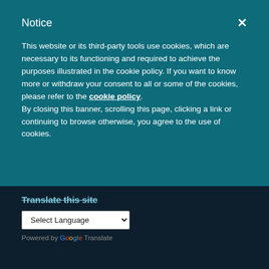Notice
This website or its third-party tools use cookies, which are necessary to its functioning and required to achieve the purposes illustrated in the cookie policy. If you want to know more or withdraw your consent to all or some of the cookies, please refer to the cookie policy.
By closing this banner, scrolling this page, clicking a link or continuing to browse otherwise, you agree to the use of cookies.
Translate this site
Select Language
Powered by Google Translate
Copyright © 2022 Global Business School Network | Privacy Policy